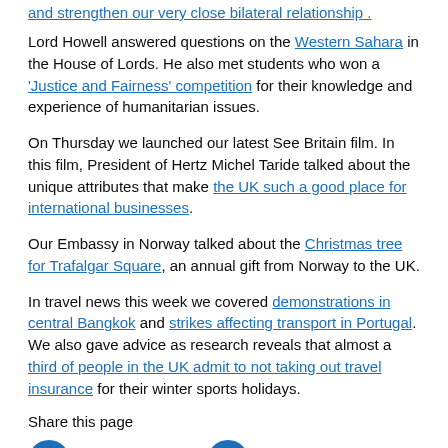and strengthen our very close bilateral relationship .
Lord Howell answered questions on the Western Sahara in the House of Lords. He also met students who won a 'Justice and Fairness' competition for their knowledge and experience of humanitarian issues.
On Thursday we launched our latest See Britain film. In this film, President of Hertz Michel Taride talked about the unique attributes that make the UK such a good place for international businesses.
Our Embassy in Norway talked about the Christmas tree for Trafalgar Square, an annual gift from Norway to the UK.
In travel news this week we covered demonstrations in central Bangkok and strikes affecting transport in Portugal. We also gave advice as research reveals that almost a third of people in the UK admit to not taking out travel insurance for their winter sports holidays.
Share this page
[Figure (logo): Facebook and Twitter social share buttons with icons]